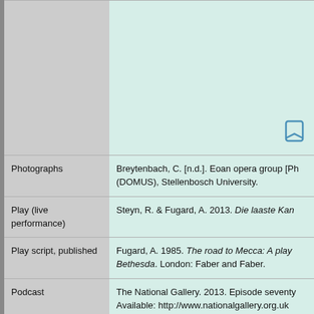| Type | Reference |
| --- | --- |
|  |  |
| Photographs | Breytenbach, C. [n.d.]. Eoan opera group [Ph... (DOMUS), Stellenbosch University. |
| Play (live performance) | Steyn, R. & Fugard, A. 2013. Die laaste Kan... |
| Play script, published | Fugard, A. 1985. The road to Mecca: A play... Bethesda. London: Faber and Faber. |
| Podcast | The National Gallery. 2013. Episode seventy... Available: http://www.nationalgallery.org.uk... |